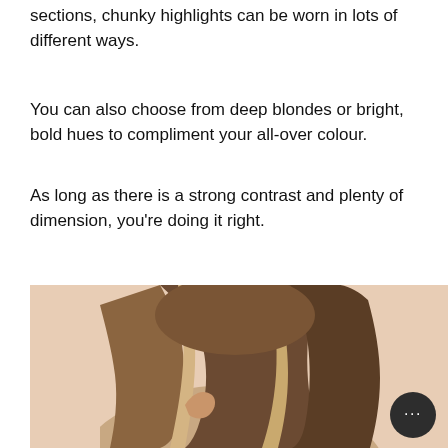sections, chunky highlights can be worn in lots of different ways.
You can also choose from deep blondes or bright, bold hues to compliment your all-over colour.
As long as there is a strong contrast and plenty of dimension, you're doing it right.
[Figure (photo): Woman with long brunette hair featuring chunky blonde highlights, viewed from the side/back, against a peach/beige background. A chat button overlay appears in the bottom right corner.]